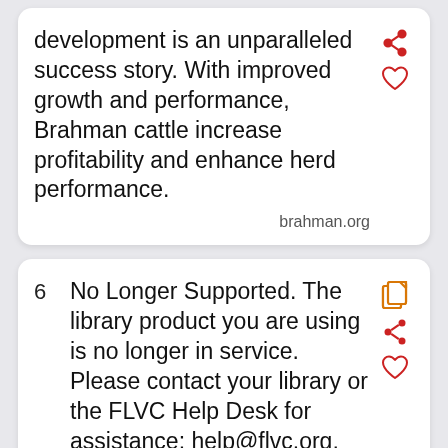development is an unparalleled success story. With improved growth and performance, Brahman cattle increase profitability and enhance herd performance.
brahman.org
6  No Longer Supported. The library product you are using is no longer in service. Please contact your library or the FLVC Help Desk for assistance: help@flvc.org, 877-506-2210
libraries.flvc.org
7  Suicide Prevention Resources. If there is an immediate threat to self or others, you are strongly